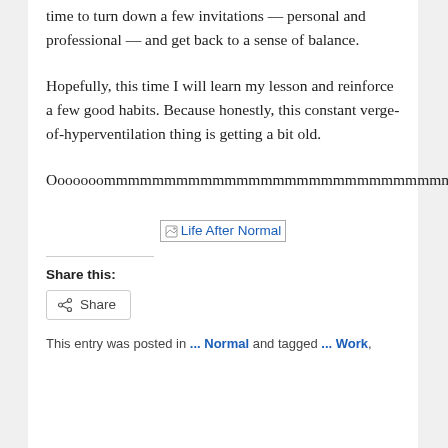time to turn down a few invitations — personal and professional — and get back to a sense of balance.
Hopefully, this time I will learn my lesson and reinforce a few good habits. Because honestly, this constant verge-of-hyperventilation thing is getting a bit old.
Ooooooommmmmmmmmmmmmmmmmmmmmmmmmmmmmmmm.
[Figure (illustration): Image placeholder with alt text 'Life After Normal' shown as a linked image with broken image icon]
Share this:
Share
This entry was posted in ... Normal and tagged ... Work,